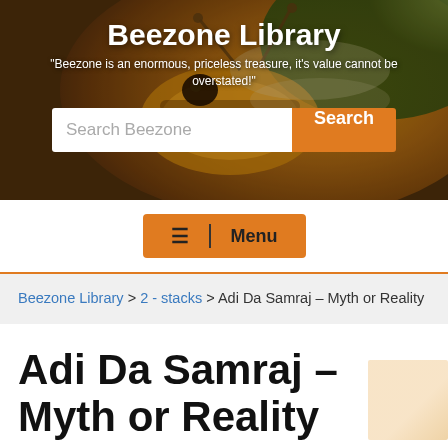[Figure (photo): Close-up macro photo of a honey bee with orange and brown tones forming the hero banner background]
Beezone Library
"Beezone is an enormous, priceless treasure, it's value cannot be overstated!"
Search Beezone [Search button]
≡ | Menu
Beezone Library > 2 - stacks > Adi Da Samraj – Myth or Reality
Adi Da Samraj – Myth or Reality